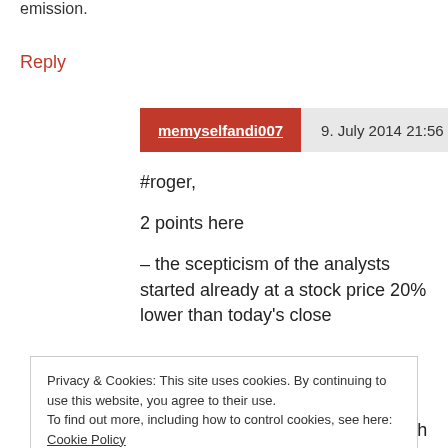emission.
Reply
memyselfandi007   9. July 2014 21:56
#roger,

2 points here

– the scepticism of the analysts started already at a stock price 20% lower than today's close
Privacy & Cookies: This site uses cookies. By continuing to use this website, you agree to their use.
To find out more, including how to control cookies, see here: Cookie Policy
Close and accept
close to the bottom at relatively high